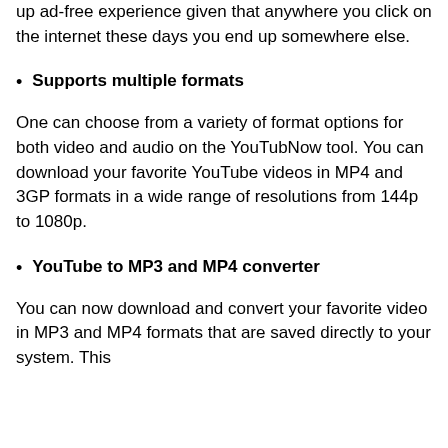up ad-free experience given that anywhere you click on the internet these days you end up somewhere else.
Supports multiple formats
One can choose from a variety of format options for both video and audio on the YouTubNow tool. You can download your favorite YouTube videos in MP4 and 3GP formats in a wide range of resolutions from 144p to 1080p.
YouTube to MP3 and MP4 converter
You can now download and convert your favorite video in MP3 and MP4 formats that are saved directly to your system. This